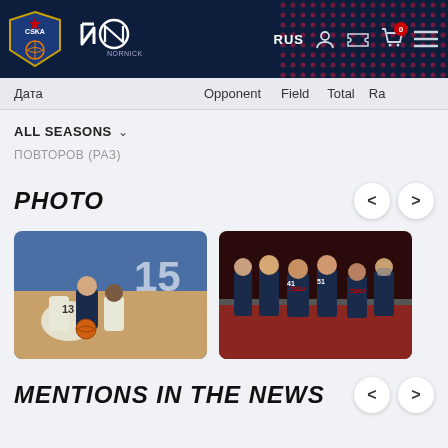CSKA NORNICKEL | RUS
| Дата | Opponent | Field | Total | Ra |
| --- | --- | --- | --- | --- |
ALL SEASONS ∨
ПОВТОРОВ (РАЗ)
PHOTO
[Figure (photo): Basketball players scrambling for the ball on the floor, player #13 in white jersey]
[Figure (photo): CSKA basketball team players in dark jerseys huddled together on court]
MENTIONS IN THE NEWS